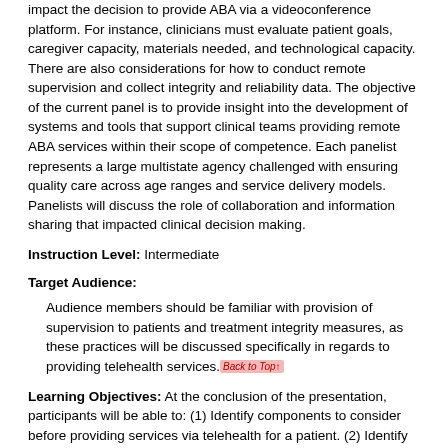impact the decision to provide ABA via a videoconference platform. For instance, clinicians must evaluate patient goals, caregiver capacity, materials needed, and technological capacity. There are also considerations for how to conduct remote supervision and collect integrity and reliability data. The objective of the current panel is to provide insight into the development of systems and tools that support clinical teams providing remote ABA services within their scope of competence. Each panelist represents a large multistate agency challenged with ensuring quality care across age ranges and service delivery models. Panelists will discuss the role of collaboration and information sharing that impacted clinical decision making.
Instruction Level: Intermediate
Target Audience:
Audience members should be familiar with provision of supervision to patients and treatment integrity measures, as these practices will be discussed specifically in regards to providing telehealth services.
Learning Objectives: At the conclusion of the presentation, participants will be able to: (1) Identify components to consider before providing services via telehealth for a patient. (2) Identify at least two strategies for collecting treatment integrity data. (3)